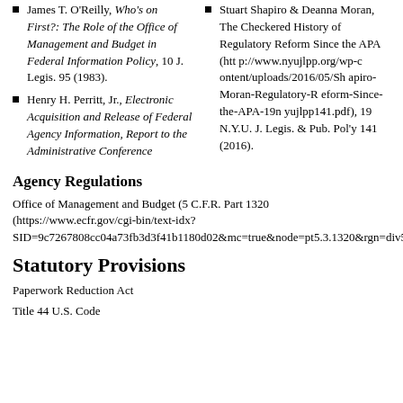James T. O'Reilly, Who's on First?: The Role of the Office of Management and Budget in Federal Information Policy, 10 J. Legis. 95 (1983).
Henry H. Perritt, Jr., Electronic Acquisition and Release of Federal Agency Information, Report to the Administrative Conference
Stuart Shapiro & Deanna Moran, The Checkered History of Regulatory Reform Since the APA (http://www.nyujlpp.org/wp-content/uploads/2016/05/Shapiro-Moran-Regulatory-Reform-Since-the-APA-19nyujlpp141.pdf), 19 N.Y.U. J. Legis. & Pub. Pol'y 141 (2016).
Agency Regulations
Office of Management and Budget (5 C.F.R. Part 1320 (https://www.ecfr.gov/cgi-bin/text-idx?SID=9c7267808cc04a73fb3d3f41b1180d02&mc=true&node=pt5.3.1320&rgn=div5))
Statutory Provisions
Paperwork Reduction Act
Title 44 U.S. Code